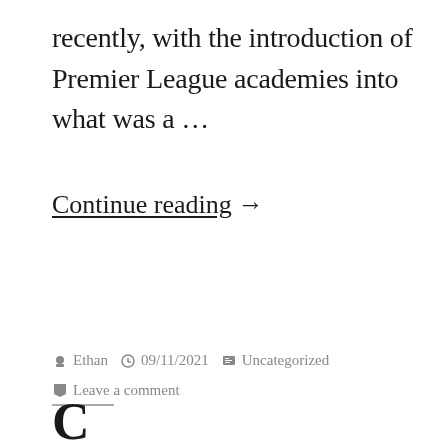recently, with the introduction of Premier League academies into what was a …
Continue reading →
Posted by Ethan  09/11/2021  Uncategorized  Leave a comment
Continue...